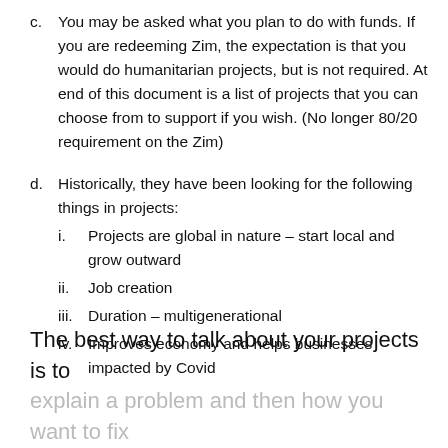c. You may be asked what you plan to do with funds. If you are redeeming Zim, the expectation is that you would do humanitarian projects, but is not required. At end of this document is a list of projects that you can choose from to support if you wish. (No longer 80/20 requirement on the Zim)
d. Historically, they have been looking for the following things in projects:
i. Projects are global in nature – start local and grow outward
ii. Job creation
iii. Duration – multigenerational
iv. Improves economy and helps businesses impacted by Covid
The best way to talk about your projects is to explain a problem and then how you want to fix